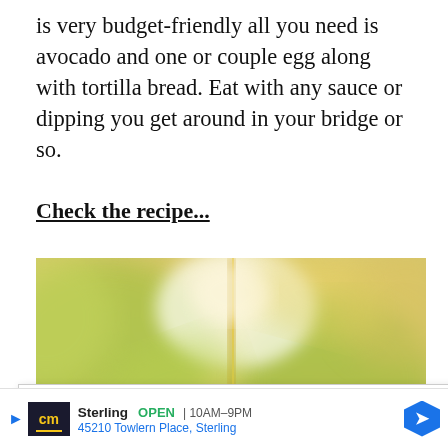is very budget-friendly all you need is avocado and one or couple egg along with tortilla bread. Eat with any sauce or dipping you get around in your bridge or so.
Check the recipe...
[Figure (photo): Blurred close-up photo of green and yellow plant/avocado leaves with a vertical golden stem in the center]
Our site uses cookies. Learn more about our use of cookies: cookie policy
I ACCEPT USE OF COOKIES
Sterling OPEN 10AM–9PM 45210 Towlern Place, Sterling